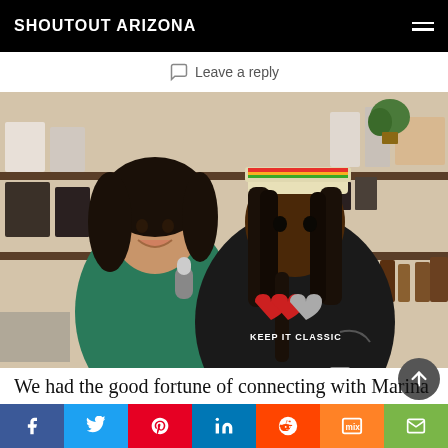SHOUTOUT ARIZONA
Leave a reply
[Figure (photo): Two women standing in a shop with shelves of products. The woman on the left has curly hair and is wearing a green top holding a microphone. The woman on the right is wearing a black t-shirt that reads 'KEEP IT CLASSIC' with heart graphics, a cap, and has dreadlocks.]
We had the good fortune of connecting with Marina Mohan and we've shared our conversation